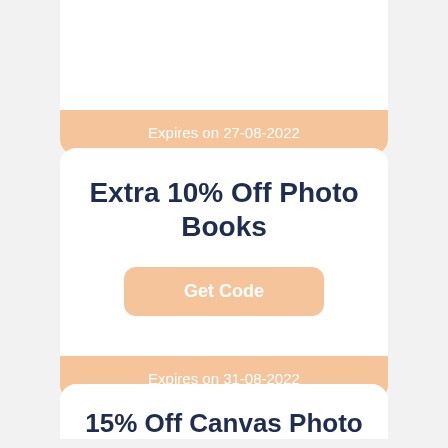Expires on 27-08-2022
Extra 10% Off Photo Books
Get Code
Expires on 31-08-2022
15% Off Canvas Photo